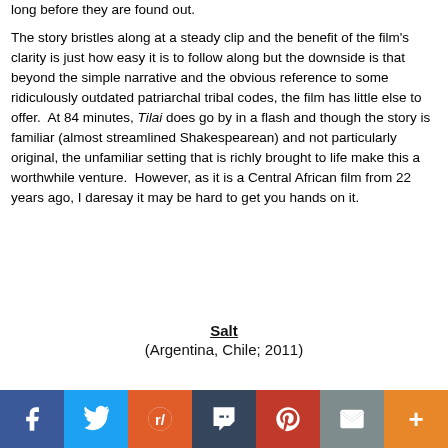long before they are found out.
The story bristles along at a steady clip and the benefit of the film's clarity is just how easy it is to follow along but the downside is that beyond the simple narrative and the obvious reference to some ridiculously outdated patriarchal tribal codes, the film has little else to offer.  At 84 minutes, Tilai does go by in a flash and though the story is familiar (almost streamlined Shakespearean) and not particularly original, the unfamiliar setting that is richly brought to life make this a worthwhile venture.  However, as it is a Central African film from 22 years ago, I daresay it may be hard to get you hands on it.
Salt
(Argentina, Chile; 2011)